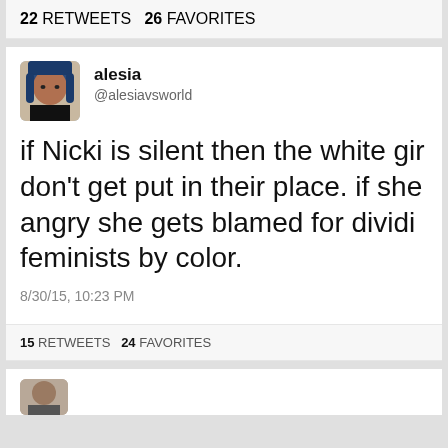22 RETWEETS  26 FAVORITES
[Figure (photo): Twitter profile photo of alesia (@alesiavsworld), a woman with blue braided hair]
alesia
@alesiavsworld
if Nicki is silent then the white gir don't get put in their place. if she angry she gets blamed for dividin feminists by color.
8/30/15, 10:23 PM
15 RETWEETS  24 FAVORITES